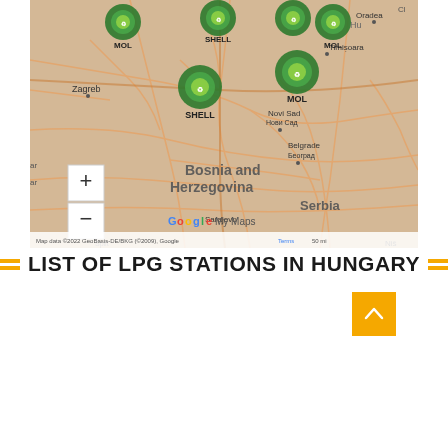[Figure (map): Google My Maps showing LPG stations (MOL and SHELL brands) in Hungary and surrounding Balkan/Central European region. Markers with green recycling-style icons label MOL and SHELL stations. Map shows Zagreb, Timișoara, Novi Sad, Belgrade, Sarajevo areas. Zoom controls (+/-) visible. Attribution: Map data ©2022 GeoBasis-DE/BKG (©2009), Google, Terms, 50 mi.]
LIST OF LPG STATIONS IN HUNGARY